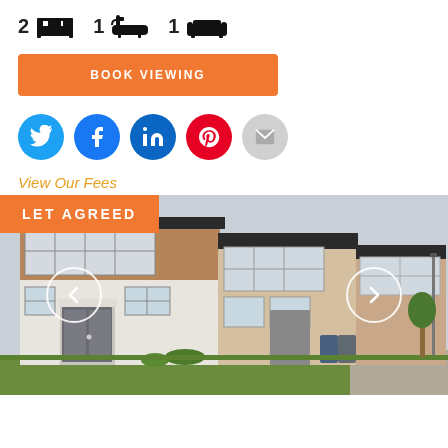[Figure (infographic): Property icons showing 2 bedrooms, 1 bathroom, 1 reception room]
BOOK VIEWING
[Figure (infographic): Social media share buttons: Twitter, Facebook, LinkedIn, Pinterest, Email]
View Our Fees
[Figure (photo): Exterior photo of terraced houses with white rendered ground floor and brick upper floor, with LET AGREED badge overlay and left/right navigation arrows]